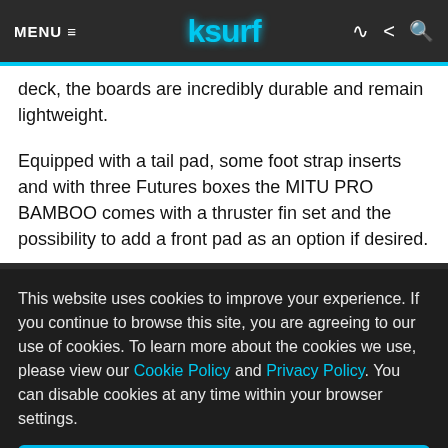MENU ≡  ksurf
deck, the boards are incredibly durable and remain lightweight.
Equipped with a tail pad, some foot strap inserts and with three Futures boxes the MITU PRO BAMBOO comes with a thruster fin set and the possibility to add a front pad as an option if desired.
This website uses cookies to improve your experience. If you continue to browse this site, you are agreeing to our use of cookies. To learn more about the cookies we use, please view our Cookie Policy and Privacy Policy. You can disable cookies at any time within your browser settings.
OK, Close